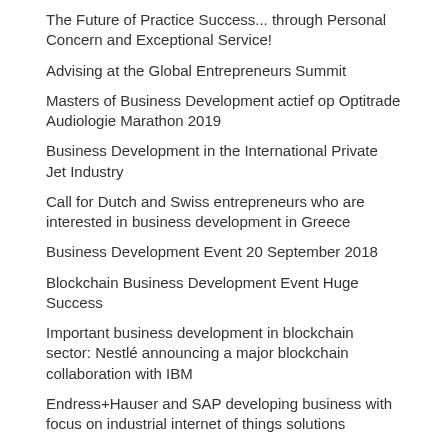The Future of Practice Success... through Personal Concern and Exceptional Service!
Advising at the Global Entrepreneurs Summit
Masters of Business Development actief op Optitrade Audiologie Marathon 2019
Business Development in the International Private Jet Industry
Call for Dutch and Swiss entrepreneurs who are interested in business development in Greece
Business Development Event 20 September 2018
Blockchain Business Development Event Huge Success
Important business development in blockchain sector: Nestlé announcing a major blockchain collaboration with IBM
Endress+Hauser and SAP developing business with focus on industrial internet of things solutions